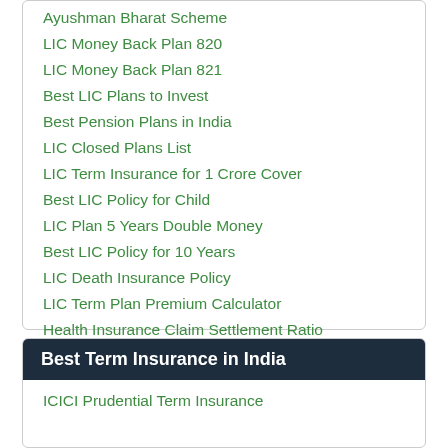Ayushman Bharat Scheme
LIC Money Back Plan 820
LIC Money Back Plan 821
Best LIC Plans to Invest
Best Pension Plans in India
LIC Closed Plans List
LIC Term Insurance for 1 Crore Cover
Best LIC Policy for Child
LIC Plan 5 Years Double Money
Best LIC Policy for 10 Years
LIC Death Insurance Policy
LIC Term Plan Premium Calculator
Health Insurance Claim Settlement Ratio
LIC Pradhan Mantri Vaya Vandana Yojna
Best Term Insurance in India
ICICI Prudential Term Insurance